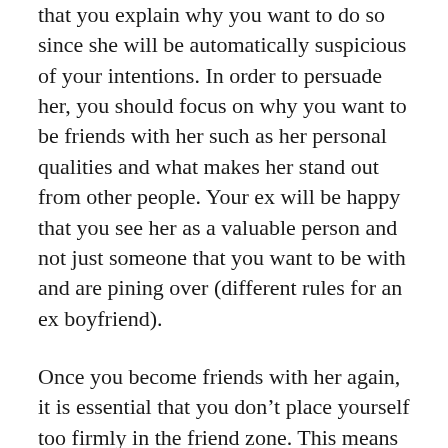that you explain why you want to do so since she will be automatically suspicious of your intentions. In order to persuade her, you should focus on why you want to be friends with her such as her personal qualities and what makes her stand out from other people. Your ex will be happy that you see her as a valuable person and not just someone that you want to be with and are pining over (different rules for an ex boyfriend).
Once you become friends with her again, it is essential that you don’t place yourself too firmly in the friend zone. This means that while you should be respectful of her, you should be trying to casually woo her and regain her love, trust and affection. You can do this by being attentive to her, talking to her casually and being there to support her as well as being the one person that she can tell anything to. It is essential that you don’t act upset or jealous if